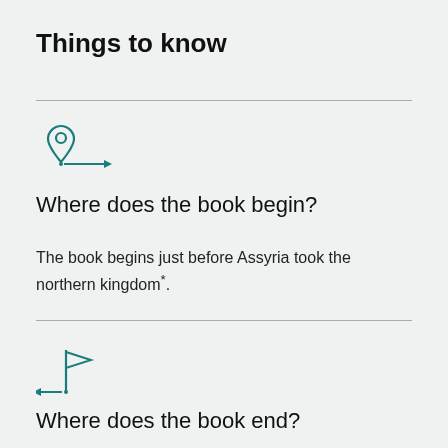Things to know
[Figure (illustration): Teal location pin icon with a small arrow pointing right, representing where a book begins]
Where does the book begin?
The book begins just before Assyria took the northern kingdom*.
[Figure (illustration): Teal flag on a pole with a small arrow pointing right, representing where a book ends]
Where does the book end?